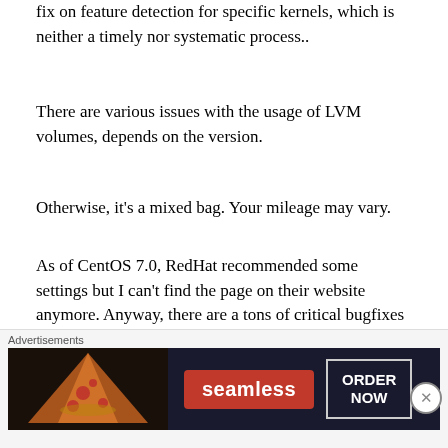fix on feature detection for specific kernels, which is neither a timely nor systematic process..
There are various issues with the usage of LVM volumes, depends on the version.
Otherwise, it’s a mixed bag. Your mileage may vary.
As of CentOS 7.0, RedHat recommended some settings but I can’t find the page on their website anymore. Anyway, there are a tons of critical bugfixes in later version so you MUST update to the latest version.
As of CentOS 7.2, RedHat recommends and supports exclusively XFS and they give special flags for the
[Figure (other): Seamless food delivery advertisement banner with pizza image, Seamless logo in red, and ORDER NOW button]